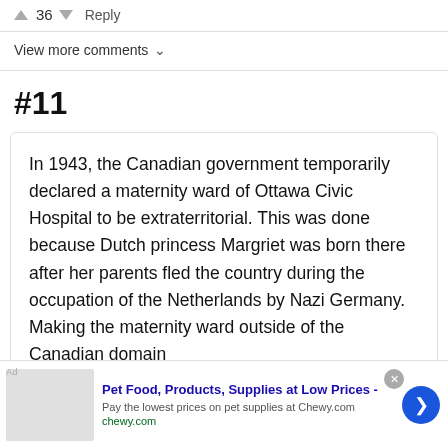↑ 36 ↓ Reply
View more comments ∨
#11
In 1943, the Canadian government temporarily declared a maternity ward of Ottawa Civic Hospital to be extraterritorial. This was done because Dutch princess Margriet was born there after her parents fled the country during the occupation of the Netherlands by Nazi Germany. Making the maternity ward outside of the Canadian domain
Pet Food, Products, Supplies at Low Prices - Pay the lowest prices on pet supplies at Chewy.com chewy.com